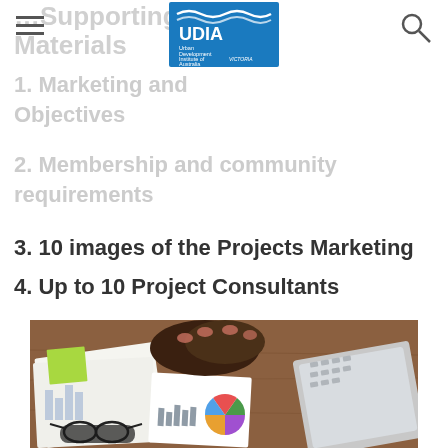UDIA Victoria - Urban Development Institute of Australia
1. Marketing supporting materials and Objectives
2. Membership and community requirements
3. 10 images of the Projects Marketing
4. Up to 10 Project Consultants
[Figure (photo): Overhead view of a person at a wooden desk with financial documents, charts, a pie chart, glasses, and a laptop keyboard visible]